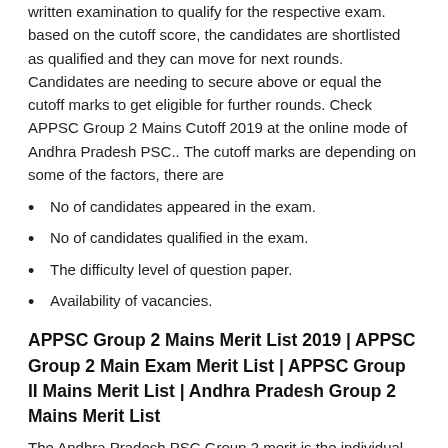written examination to qualify for the respective exam. based on the cutoff score, the candidates are shortlisted as qualified and they can move for next rounds. Candidates are needing to secure above or equal the cutoff marks to get eligible for further rounds. Check APPSC Group 2 Mains Cutoff 2019 at the online mode of Andhra Pradesh PSC.. The cutoff marks are depending on some of the factors, there are
No of candidates appeared in the exam.
No of candidates qualified in the exam.
The difficulty level of question paper.
Availability of vacancies.
APPSC Group 2 Mains Merit List 2019 | APPSC Group 2 Main Exam Merit List | APPSC Group II Mains Merit List | Andhra Pradesh Group 2 Mains Merit List
The Andhra Pradesh PSC Group 2 merit is the individual